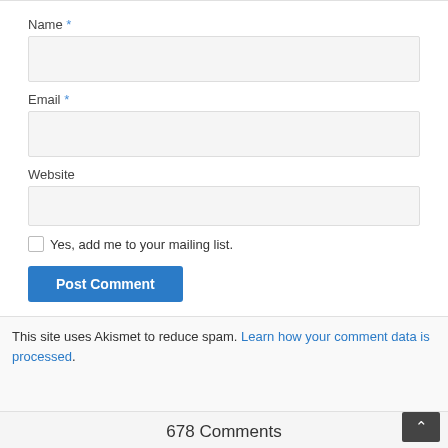Name *
Email *
Website
Yes, add me to your mailing list.
Post Comment
This site uses Akismet to reduce spam. Learn how your comment data is processed.
678 Comments